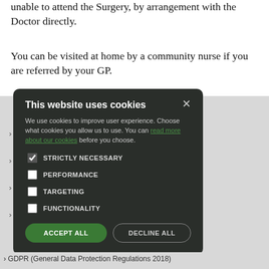unable to attend the Surgery, by arrangement with the Doctor directly.
You can be visited at home by a community nurse if you are referred by your GP.
[Figure (screenshot): Cookie consent modal overlay on a website. Dark background modal with title 'This website uses cookies', body text explaining cookie usage with a green hyperlink 'read more about our cookies', four checkboxes (STRICTLY NECESSARY checked, PERFORMANCE unchecked, TARGETING unchecked, FUNCTIONALITY unchecked), and two buttons: 'ACCEPT ALL' (green filled) and 'DECLINE ALL' (outlined).]
> GDPR (General Data Protection Regulations 2018)